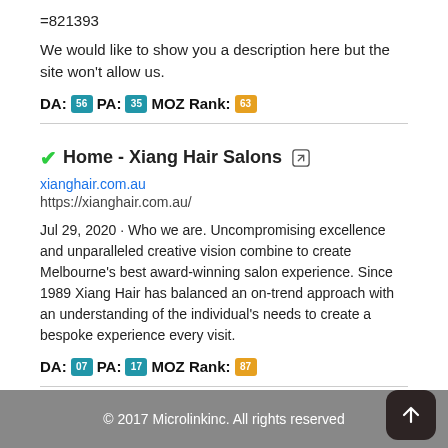=821393
We would like to show you a description here but the site won't allow us.
DA: 56  PA: 35  MOZ Rank: 63
Home - Xiang Hair Salons
xianghair.com.au
https://xianghair.com.au/
Jul 29, 2020 · Who we are. Uncompromising excellence and unparalleled creative vision combine to create Melbourne's best award-winning salon experience. Since 1989 Xiang Hair has balanced an on-trend approach with an understanding of the individual's needs to create a bespoke experience every visit.
DA: 07  PA: 17  MOZ Rank: 87
© 2017 Microlinkinc. All rights reserved